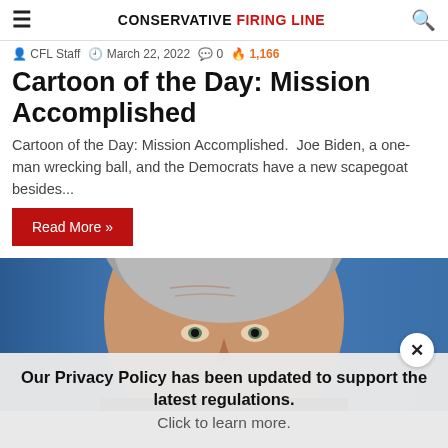CONSERVATIVE FIRING LINE
CFL Staff  March 22, 2022  0  1,166
Cartoon of the Day: Mission Accomplished
Cartoon of the Day: Mission Accomplished.  Joe Biden, a one-man wrecking ball, and the Democrats have a new scapegoat besides...
Read More »
[Figure (photo): Close-up photo of Vladimir Putin with a blue background, looking forward with his hand raised near his face.]
Our Privacy Policy has been updated to support the latest regulations. Click to learn more.